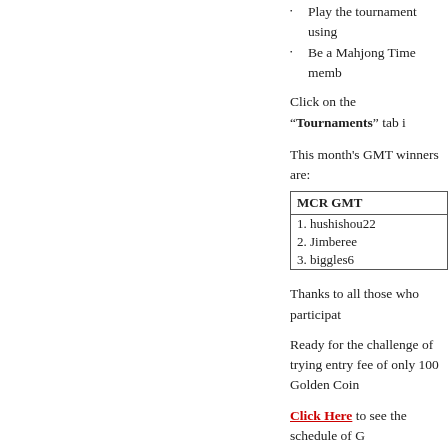Play the tournament using
Be a Mahjong Time memb
Click on the "Tournaments" tab i
This month's GMT winners are:
| MCR GMT |
| --- |
| 1. hushishou22 |
| 2. Jimberee |
| 3. biggles6 |
Thanks to all those who participat
Ready for the challenge of trying entry fee of only 100 Golden Coin
Click Here to see the schedule of G
Ari- Ari and Zung Jung A
[Figure (illustration): Anime-style character illustration on teal background with white text reading Mahjo Ari Ari T...]